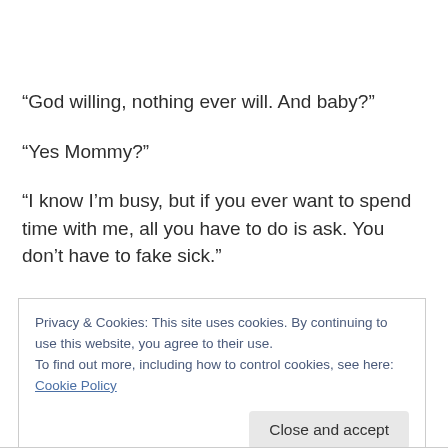“God willing, nothing ever will. And baby?”
“Yes Mommy?”
“I know I’m busy, but if you ever want to spend time with me, all you have to do is ask. You don’t have to fake sick.”
My mother grabbed her laptop and walked to her desk. Before she sat down, she turned and winked at me. My
Privacy & Cookies: This site uses cookies. By continuing to use this website, you agree to their use.
To find out more, including how to control cookies, see here: Cookie Policy
Close and accept